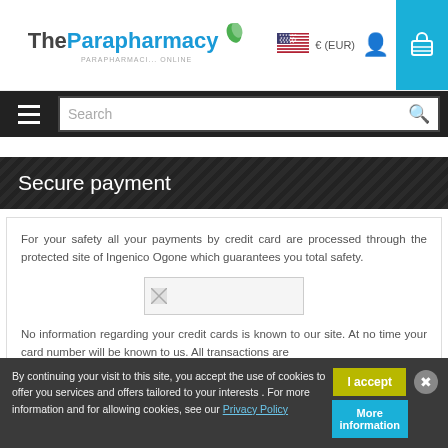TheParapharmacy — parapharmacist online
Secure payment
For your safety all your payments by credit card are processed through the protected site of Ingenico Ogone which guarantees you total safety.
[Figure (photo): Placeholder/broken image for secure payment badge]
No information regarding your credit cards is known to our site. At no time your card number will be known to us. All transactions are processed securely (Secure Socket Layer) standard and which Ingenico is places of electronic payment
By continuing your visit to this site, you accept the use of cookies to offer you services and offers tailored to your interests . For more information and for allowing cookies, see our Privacy Policy